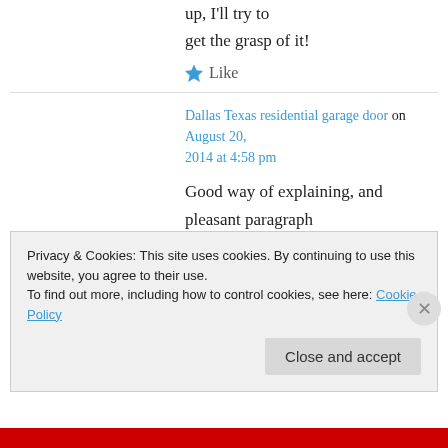up, I'll try to get the grasp of it!
Like
Dallas Texas residential garage door on August 20, 2014 at 4:58 pm
Good way of explaining, and pleasant paragraph to take facts on the topic of my presentation subject, which i am going to present in academy.
Privacy & Cookies: This site uses cookies. By continuing to use this website, you agree to their use. To find out more, including how to control cookies, see here: Cookie Policy
Close and accept